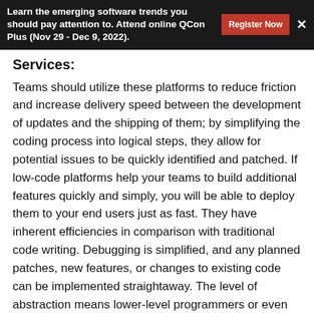Learn the emerging software trends you should pay attention to. Attend online QCon Plus (Nov 29 - Dec 9, 2022).
Services:
Teams should utilize these platforms to reduce friction and increase delivery speed between the development of updates and the shipping of them; by simplifying the coding process into logical steps, they allow for potential issues to be quickly identified and patched. If low-code platforms help your teams to build additional features quickly and simply, you will be able to deploy them to your end users just as fast. They have inherent efficiencies in comparison with traditional code writing. Debugging is simplified, and any planned patches, new features, or changes to existing code can be implemented straightaway. The level of abstraction means lower-level programmers or even the “citizen